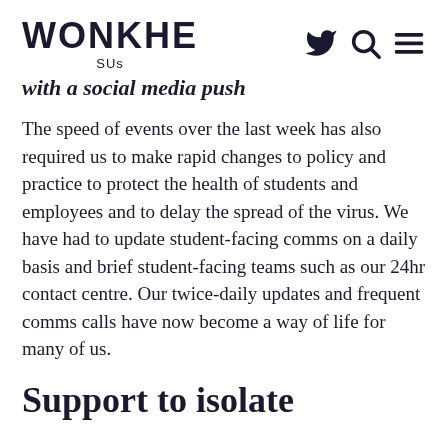WONKHE SUs
with a social media push
The speed of events over the last week has also required us to make rapid changes to policy and practice to protect the health of students and employees and to delay the spread of the virus. We have had to update student-facing comms on a daily basis and brief student-facing teams such as our 24hr contact centre. Our twice-daily updates and frequent comms calls have now become a way of life for many of us.
Support to isolate